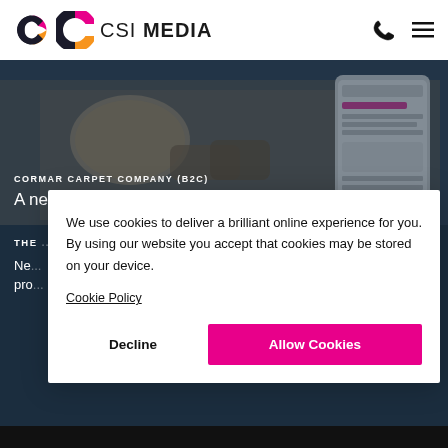CSI MEDIA
[Figure (screenshot): Hero banner showing carpet/home interior with mobile device mockup. Dark navy overlay with text: CORMAR CARPET COMPANY (B2C) - A new B2C website for UK carpet giant.]
CORMAR CARPET COMPANY (B2C)
A new B2C website for UK carpet giant.
We use cookies to deliver a brilliant online experience for you. By using our website you accept that cookies may be stored on your device.
Cookie Policy
Decline
Allow Cookies
THE ...
Ne... pro...